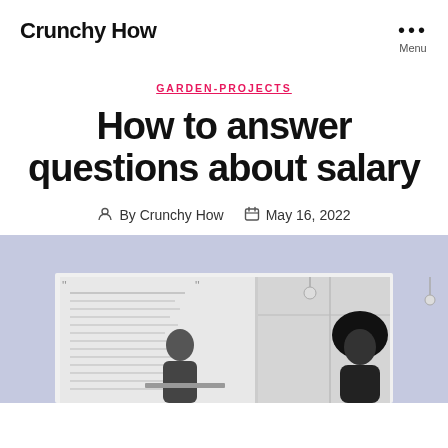Crunchy How
GARDEN-PROJECTS
How to answer questions about salary
By Crunchy How   May 16, 2022
[Figure (photo): Photo of two people in an office setting, one seated at a desk with papers, another with afro hair standing near a window, in black and white, against a lavender/periwinkle background.]